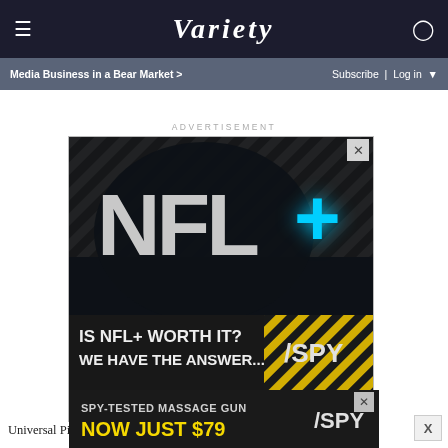≡  VARIETY  👤
Media Business in a Bear Market >   Subscribe | Log in ▼
ADVERTISEMENT
[Figure (screenshot): NFL+ advertisement banner: dark background with diagonal yellow and grey stripes pattern. Large 3D metallic letters 'NFL+' with glowing cyan plus sign. Bottom section in black and yellow reads 'IS NFL+ WORTH IT? WE HAVE THE ANSWER...' with SPY logo.]
Universal Pictures’ “The Visit” shot up to No. 3 now that its
[Figure (screenshot): SPY advertisement banner at bottom: dark background with text 'SPY-TESTED MASSAGE GUN' in white and 'NOW JUST $79' in bold yellow, with SPY logo on right.]